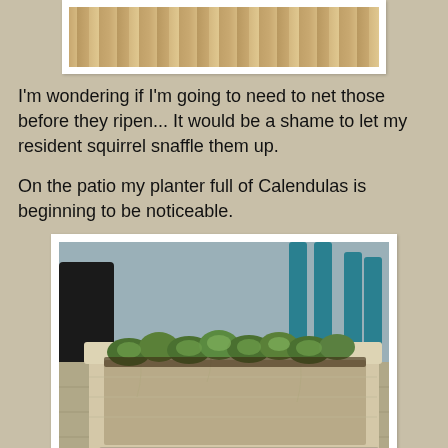[Figure (photo): Partial view of wooden deck planks, cropped at top of page]
I'm wondering if I'm going to need to net those before they ripen... It would be a shame to let my resident squirrel snaffle them up.
On the patio my planter full of Calendulas is beginning to be noticeable.
[Figure (photo): A rectangular stone/concrete planter filled with green Calendula seedlings, sitting on a patio. Teal chair legs and a dark pot visible in background.]
A couple of the plants have buds on them now, so I'll finish my post with this close-up photo. I think it makes the bud